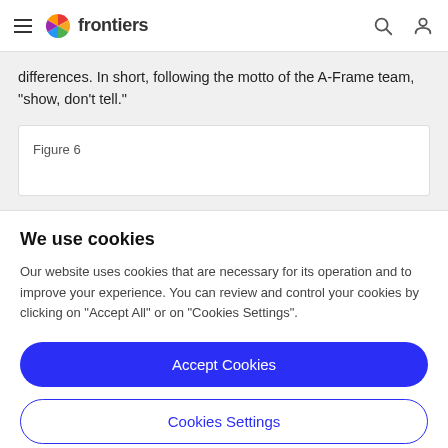frontiers
differences. In short, following the motto of the A-Frame team, “show, don’t tell.”
Figure 6...
We use cookies
Our website uses cookies that are necessary for its operation and to improve your experience. You can review and control your cookies by clicking on “Accept All” or on “Cookies Settings”.
Accept Cookies
Cookies Settings